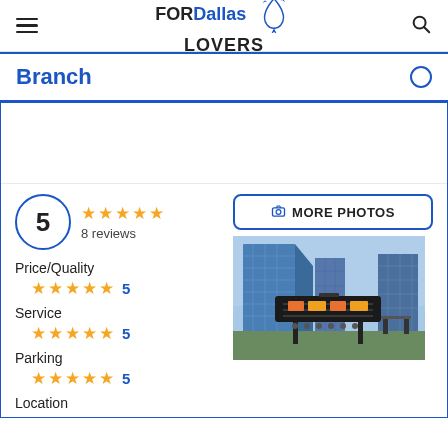FORDallas LOVERS
Branch
5  ★★★★★  8 reviews
Price/Quality ★★★★★ 5
Service ★★★★★ 5
Parking ★★★★★ 5
Location
[Figure (photo): Rooftop BBQ grill with Dallas downtown skyline in the background, tall glass skyscrapers visible]
MORE PHOTOS